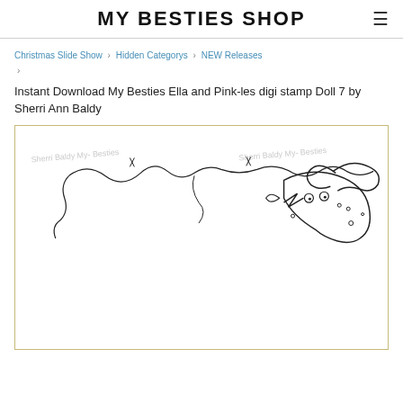MY BESTIES SHOP
Christmas Slide Show › Hidden Categorys › NEW Releases ›
Instant Download My Besties Ella and Pink-les digi stamp Doll 7 by Sherri Ann Baldy
[Figure (illustration): Line art digi stamp showing two cartoon characters (Ella and Pink-les dolls) with decorative swirly lines and watermark text 'Sherri Baldy My-Besties' on left and right sides]